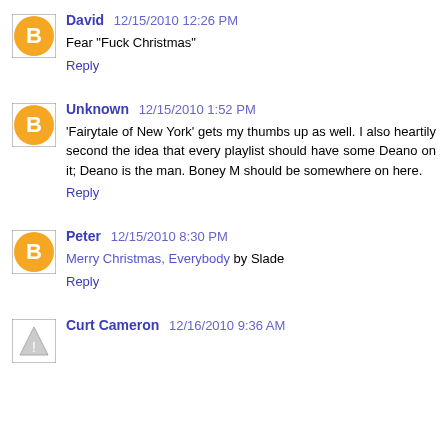David 12/15/2010 12:26 PM
Fear "Fuck Christmas"
Reply
Unknown 12/15/2010 1:52 PM
'Fairytale of New York' gets my thumbs up as well. I also heartily second the idea that every playlist should have some Deano on it; Deano is the man. Boney M should be somewhere on here.
Reply
Peter 12/15/2010 8:30 PM
Merry Christmas, Everybody by Slade
Reply
Curt Cameron 12/16/2010 9:36 AM